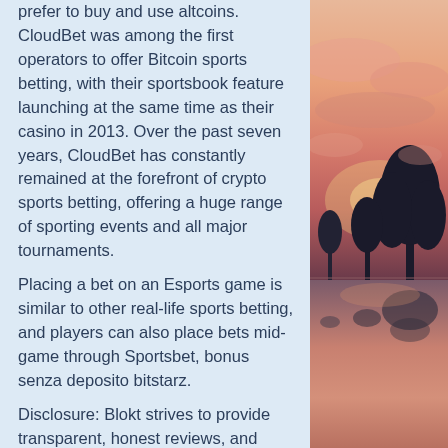prefer to buy and use altcoins. CloudBet was among the first operators to offer Bitcoin sports betting, with their sportsbook feature launching at the same time as their casino in 2013. Over the past seven years, CloudBet has constantly remained at the forefront of crypto sports betting, offering a huge range of sporting events and all major tournaments.
Placing a bet on an Esports game is similar to other real-life sports betting, and players can also place bets mid-game through Sportsbet, bonus senza deposito bitstarz.
Disclosure: Blokt strives to provide transparent, honest reviews, and opinions. The writer of this article is a user of the product(s) or service(s) mentioned in this article and was not influenced by the respective owners, bonus senza deposito bitstarz. We rarely run ads, but sometimes earn a small commission when you purchase a product or service via a link on our site.
[Figure (photo): Sunset landscape photo with silhouetted trees reflected in water, orange and pink sky.]